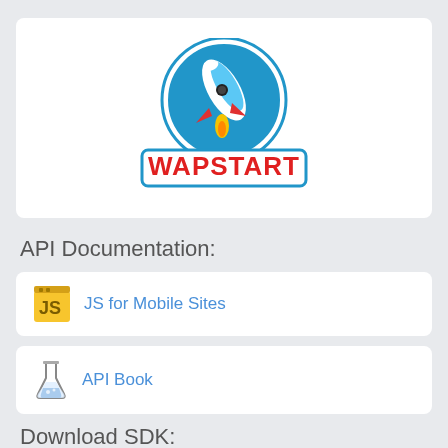[Figure (logo): WapStart logo: blue circle with white rocket ship, red fins, yellow flame, below a red banner with white border reading WAPSTART in bold red letters on white background]
API Documentation:
JS for Mobile Sites
API Book
Download SDK: